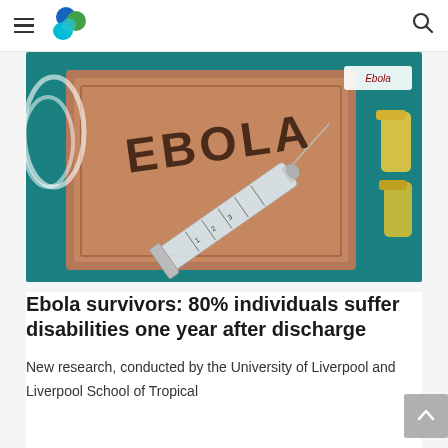Medical news website header with hamburger menu, logo, and search icon
[Figure (photo): A brown book titled EBOLA with a glass syringe resting on it and yellow medical vials beside it, on a teal background. A smaller label reading 'Ebola' is visible in the upper right corner.]
Ebola survivors: 80% individuals suffer disabilities one year after discharge
New research, conducted by the University of Liverpool and Liverpool School of Tropical Medicine, highlights the need for long-term